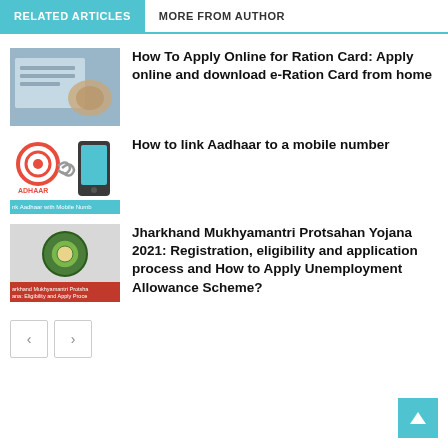RELATED ARTICLES | MORE FROM AUTHOR
How To Apply Online for Ration Card: Apply online and download e-Ration Card from home
How to link Aadhaar to a mobile number
Jharkhand Mukhyamantri Protsahan Yojana 2021: Registration, eligibility and application process and How to Apply Unemployment Allowance Scheme?